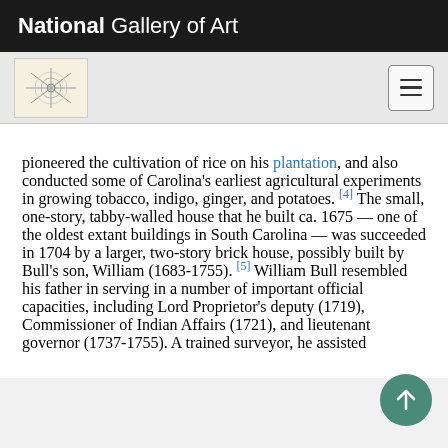National Gallery of Art
pioneered the cultivation of rice on his plantation, and also conducted some of Carolina's earliest agricultural experiments in growing tobacco, indigo, ginger, and potatoes. [4] The small, one-story, tabby-walled house that he built ca. 1675 — one of the oldest extant buildings in South Carolina — was succeeded in 1704 by a larger, two-story brick house, possibly built by Bull's son, William (1683-1755). [5] William Bull resembled his father in serving in a number of important official capacities, including Lord Proprietor's deputy (1719), Commissioner of Indian Affairs (1721), and lieutenant governor (1737-1755). A trained surveyor, he assisted